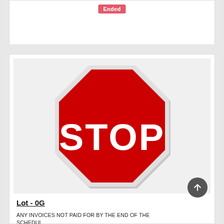Ended
[Figure (photo): A red octagonal STOP sign with white border and white text reading STOP, photographed against a white/light background.]
Lot - 0G
ANY INVOICES NOT PAID FOR BY THE END OF THE SCHEDULED REMOVAL TIME WILL BE CHARGED TO THE BUYERS CREDIT CARD...
SKU# : 56806